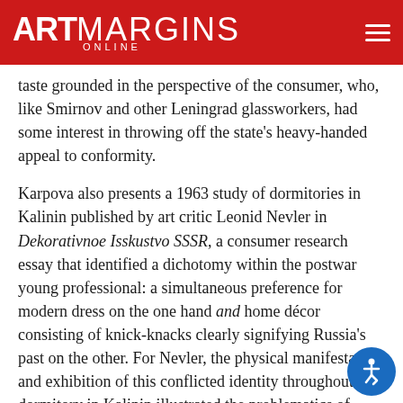ART MARGINS ONLINE
disintegration of the socialist object altogether. Using Smirnov and other new pursuits in diversify taste grounded in the perspective of the consumer, who, like Smirnov and other Leningrad glassworkers, had some interest in throwing off the state's heavy-handed appeal to conformity.
Karpova also presents a 1963 study of dormitories in Kalinin published by art critic Leonid Nevler in Dekorativnoe Isskustvo SSSR, a consumer research essay that identified a dichotomy within the postwar young professional: a simultaneous preference for modern dress on the one hand and home décor consisting of knick-knacks clearly signifying Russia's past on the other. For Nevler, the physical manifestation and exhibition of this conflicted identity throughout the dormitory in Kalinin illustrated the problematics of social transition from village to city living in late Soviet socialism (or the intracultural tensions between tradition and modernity). Nevler's study demonstrated the need for applied artists and organizations such as VNIIto reeducate Soviet citizens' taste, create better product design, and consider the individuality of consumers in doing so. Karpova